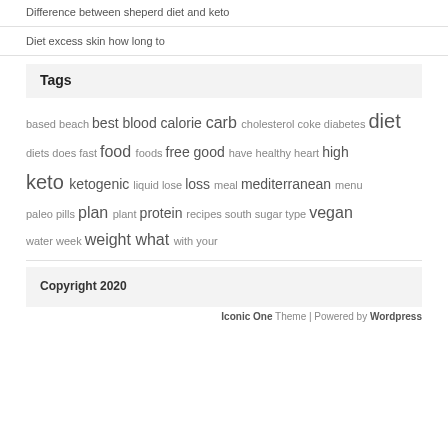Difference between sheperd diet and keto
Diet excess skin how long to
Tags
based beach best blood calorie carb cholesterol coke diabetes diet diets does fast food foods free good have healthy heart high keto ketogenic liquid lose loss meal mediterranean menu paleo pills plan plant protein recipes south sugar type vegan water week weight what with your
Copyright 2020
Iconic One Theme | Powered by Wordpress